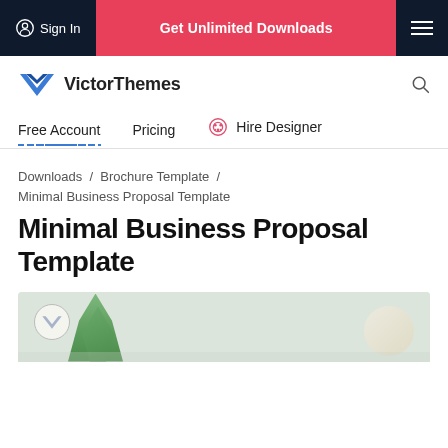Sign In | Get Unlimited Downloads | [menu]
[Figure (logo): VictorThemes logo with blue W chevron icon and text 'VictorThemes']
Free Account  Pricing  Hire Designer
Downloads / Brochure Template / Minimal Business Proposal Template
Minimal Business Proposal Template
[Figure (photo): Partial preview image of Minimal Business Proposal Template showing a desk with a plant]